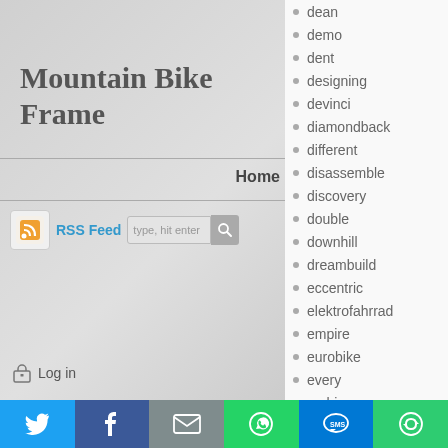Mountain Bike Frame
Home
RSS Feed  type, hit enter
dean
demo
dent
designing
devinci
diamondback
different
disassemble
discovery
double
downhill
dreambuild
eccentric
elektrofahrrad
empire
eurobike
every
ex-hire
Log in
[Figure (infographic): Social sharing bar with Twitter (blue), Facebook (dark blue), Email (grey), WhatsApp (green), SMS (blue), and a share icon (green)]